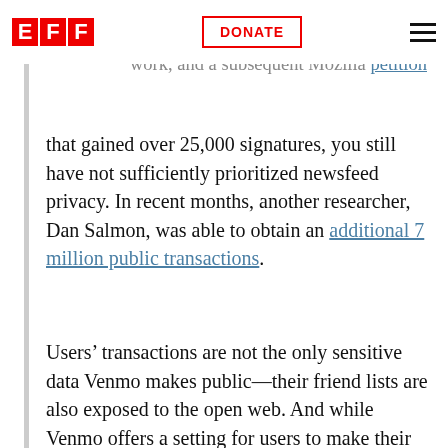EFF logo | DONATE button | hamburger menu
adjust the rate limit for public data after news covering Duc's work, and a subsequent Mozilla petition that gained over 25,000 signatures, you still have not sufficiently prioritized newsfeed privacy. In recent months, another researcher, Dan Salmon, was able to obtain an additional 7 million public transactions.
Users' transactions are not the only sensitive data Venmo makes public—their friend lists are also exposed to the open web. And while Venmo offers a setting for users to make their transactions private, there is no option for a user to hide their friend list. Despite an EFF campaign around this issue, Venmo has since removed some of